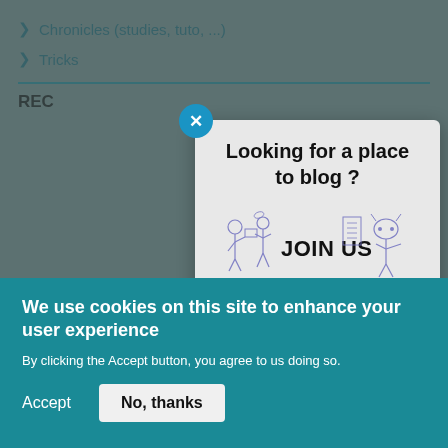Chronicles (studies, tuto, ...)
Tricks
REC
[Figure (screenshot): Modal popup overlay on a blog website with close button (X), title 'Looking for a place to blog ?', JOIN US illustration with hand-drawn characters, and text 'You can join the Dynamics Chronicles community to write']
Looking for a place to blog ?
JOIN US
You can join the Dynamics
Chronicles community to write
We use cookies on this site to enhance your user experience
By clicking the Accept button, you agree to us doing so.
Accept
No, thanks